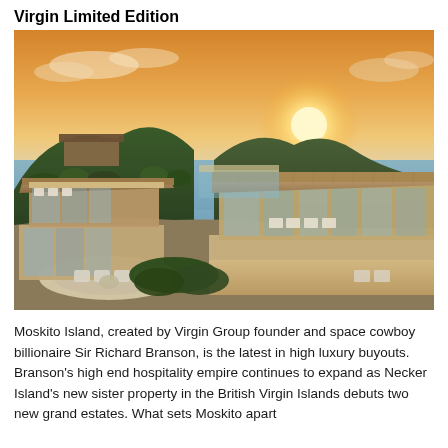Virgin Limited Edition
[Figure (photo): Aerial/elevated drone photograph of luxury modern villas on Moskito Island at sunset. Two large contemporary wooden and glass estate buildings with flat roofs and wraparound terraces are visible in the foreground, with outdoor lounge furniture on circular patio areas and upper decks. Rolling green hillside with tropical vegetation, an infinity pool area, and ocean views with a rocky headland in the background. Warm golden sunset light fills the sky with orange and pink tones.]
Moskito Island, created by Virgin Group founder and space cowboy billionaire Sir Richard Branson, is the latest in high luxury buyouts. Branson's high end hospitality empire continues to expand as Necker Island's new sister property in the British Virgin Islands debuts two new grand estates. What sets Moskito apart